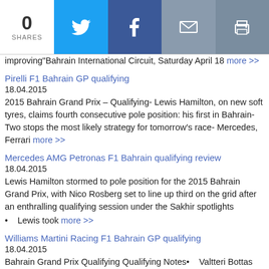0 SHARES | Twitter | Facebook | Email | Print
improving"Bahrain International Circuit, Saturday April 18 more >>
Pirelli F1 Bahrain GP qualifying
18.04.2015
2015 Bahrain Grand Prix – Qualifying- Lewis Hamilton, on new soft tyres, claims fourth consecutive pole position: his first in Bahrain- Two stops the most likely strategy for tomorrow's race- Mercedes, Ferrari more >>
Mercedes AMG Petronas F1 Bahrain qualifying review
18.04.2015
Lewis Hamilton stormed to pole position for the 2015 Bahrain Grand Prix, with Nico Rosberg set to line up third on the grid after an enthralling qualifying session under the Sakhir spotlights
Lewis took more >>
Williams Martini Racing F1 Bahrain GP qualifying
18.04.2015
Bahrain Grand Prix Qualifying Qualifying Notes• Valtteri Bottas qualified fifth and Felipe Massa sixth for tomorrow's Bahrain Grand Prix.• Both d more >>
Sauber F1 Team Bahrain qualifying
18.04.2015
Gulf Air Bahrain Grand Prix – Qualifying – Saturday, 18.04.2015Weather: FR3: sunny and dry, 28-30°C air, 36-41°C